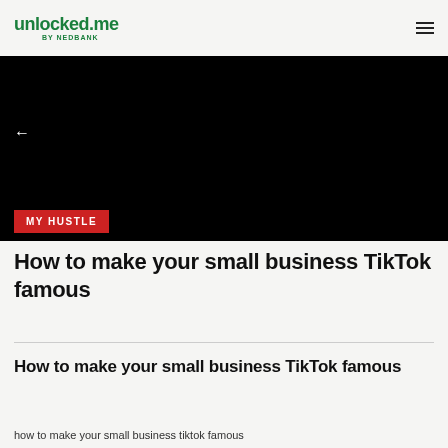unlocked.me by NEDBANK
[Figure (photo): Black hero image banner with back arrow on left side]
MY HUSTLE
How to make your small business TikTok famous
How to make your small business TikTok famous